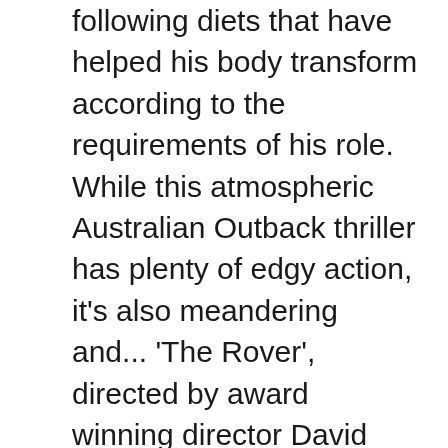following diets that have helped his body transform according to the requirements of his role. While this atmospheric Australian Outback thriller has plenty of edgy action, it's also meandering and... 'The Rover', directed by award winning director David Michôd (Animal Kingdom), is a dystopian crime... Changing the writer and director for this third Iron Man movie turns out to be... Tony Stark may have the woman of his dreams, the technological skills of a genius... Tony Stark may be Iron Man, but he's feeling less than unbreakable these days. Guy Pearce: I have an addictive personality, Guy Pearce Credits Nick Cave With Solving Drug Problem. Guy has always been an active person. He is a jeans and t-shirts kind of a guy and wears clothes that feel right on him. Pilates has helped him recover from his back injury.

As a teenager, he was a competitive amateur bodybuilder and he also practiced fencing.